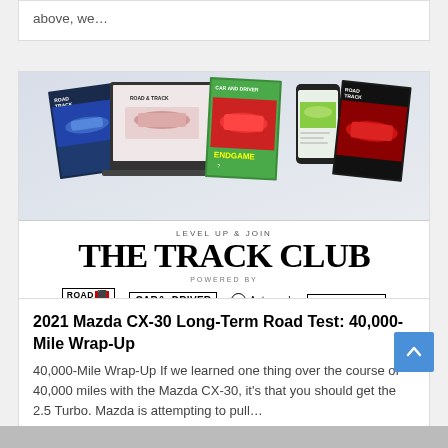above, we…
[Figure (illustration): Collage of Road & Track, Car and Driver, Autoweek, and Bring a Trailer magazine covers and digital devices, promoting The Track Club membership.]
LEVEL UP & JOIN
THE TRACK CLUB
POWERED BY
ROAD TRACK  CAR AND DRIVER  Autoweek  BRING A TRAILER
2021 Mazda CX-30 Long-Term Road Test: 40,000-Mile Wrap-Up
40,000-Mile Wrap-Up If we learned one thing over the course of 40,000 miles with the Mazda CX-30, it's that you should get the 2.5 Turbo. Mazda is attempting to pull…